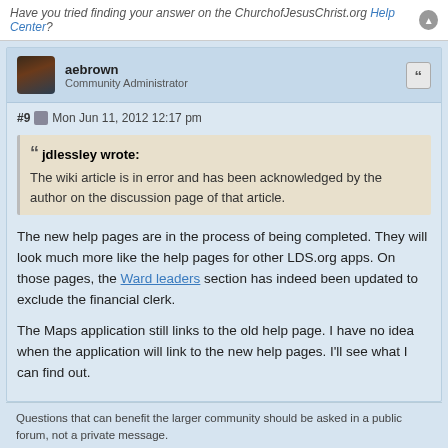Have you tried finding your answer on the ChurchofJesusChrist.org Help Center?
aebrown
Community Administrator
#9  Mon Jun 11, 2012 12:17 pm
jdlessley wrote:
The wiki article is in error and has been acknowledged by the author on the discussion page of that article.
The new help pages are in the process of being completed. They will look much more like the help pages for other LDS.org apps. On those pages, the Ward leaders section has indeed been updated to exclude the financial clerk.

The Maps application still links to the old help page. I have no idea when the application will link to the new help pages. I'll see what I can find out.
Questions that can benefit the larger community should be asked in a public forum, not a private message.